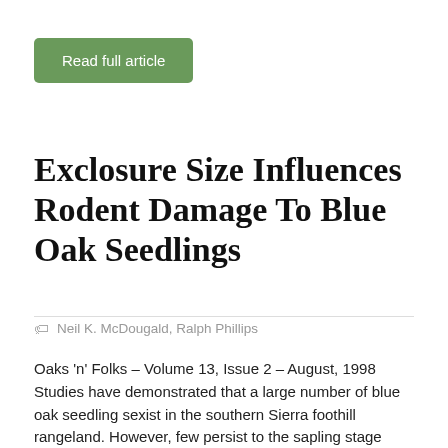[Figure (other): Green button labeled 'Read full article']
Exclosure Size Influences Rodent Damage To Blue Oak Seedlings
Neil K. McDougald, Ralph Phillips
Oaks 'n' Folks – Volume 13, Issue 2 – August, 1998 Studies have demonstrated that a large number of blue oak seedling sexist in the southern Sierra foothill rangeland. However, few persist to the sapling stage (i.e., five to ten